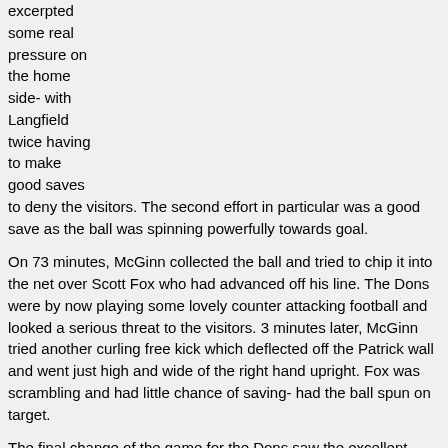excerpted some real pressure on the home side- with Langfield twice having to make good saves to deny the visitors. The second effort in particular was a good save as the ball was spinning powerfully towards goal.
On 73 minutes, McGinn collected the ball and tried to chip it into the net over Scott Fox who had advanced off his line. The Dons were by now playing some lovely counter attacking football and looked a serious threat to the visitors. 3 minutes later, McGinn tried another curling free kick which deflected off the Patrick wall and went just high and wide of the right hand upright. Fox was scrambling and had little chance of saving- had the ball spun on target.
The final change of the game for the Dons saw the excellent Peter Pawlett replaced by captain Russell Anderson. The skipper went into the centre half role and Hector moved over to right back. Straight away the Dons created another decent chance when a free kick eventually fell to Hayes whose shot was goal bound until it was blocked by Piccolo and the visitors broke up field.
Then the Dons rounded off an impressive performance with a fourth goal. After a very good move down the right and very clever dummy from Jonny Hayes, Michael Hector advanced down the right and crossed expertly for McGinn who side footed the ball high into the net to score his first goal in open play this season on 86